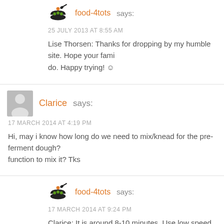food-4tots says:
25 JULY 2013 AT 8:55 AM
Lise Thorsen: Thanks for dropping by my humble site. Hope your fami do. Happy trying! ☺
Clarice says:
17 MARCH 2014 AT 4:19 PM
Hi, may i know how long do we need to mix/knead for the pre-ferment dough? function to mix it? Tks
food-4tots says:
17 MARCH 2014 AT 9:24 PM
Clarice: It is around 8-10 minutes. Use low speed to knead